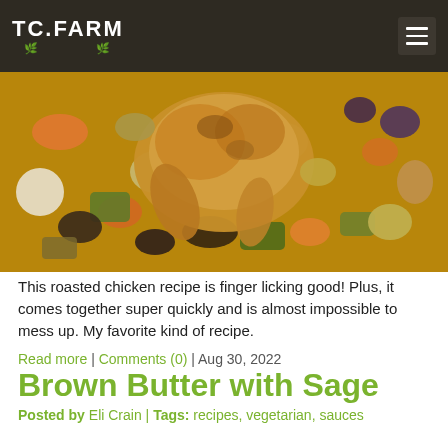TC.FARM
[Figure (photo): Overhead close-up photo of a roasted whole chicken surrounded by colorful roasted vegetables including carrots, zucchini, potatoes, mushrooms, and onions on a baking sheet.]
This roasted chicken recipe is finger licking good! Plus, it comes together super quickly and is almost impossible to mess up. My favorite kind of recipe.
Read more | Comments (0) | Aug 30, 2022
Brown Butter with Sage
Posted by Eli Crain | Tags: recipes, vegetarian, sauces